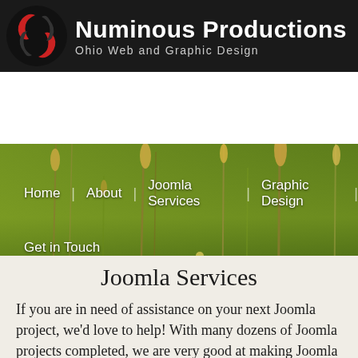Numinous Productions — Ohio Web and Graphic Design
[Figure (screenshot): Website hero banner with nature/grass background and navigation menu showing: Home | About | Joomla Services | Graphic Design | Get in Touch]
Joomla Services
If you are in need of assistance on your next Joomla project, we'd love to help! With many dozens of Joomla projects completed, we are very good at making Joomla run smoothly and look great.